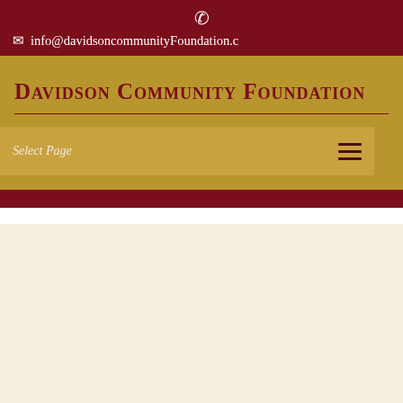📞 ✉ info@davidsoncommunityFoundation.c
Davidson Community Foundation
Select Page